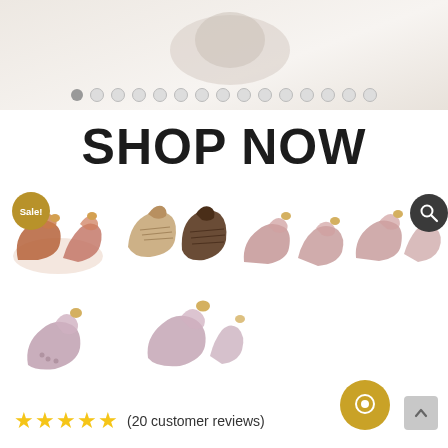[Figure (screenshot): Top banner with partial shoe/product image, gray background with gradient]
[Figure (other): Carousel navigation dots row, first dot active]
SHOP NOW
[Figure (photo): Grid of shoe tree and dress shoe product images: 4 items in first row (shoe tree with Sale! badge, pair of oxford shoes, shoe tree pair, shoe tree with search icon), 2 items in second row (shoe last/tree variants)]
★★★★★  (20 customer reviews)